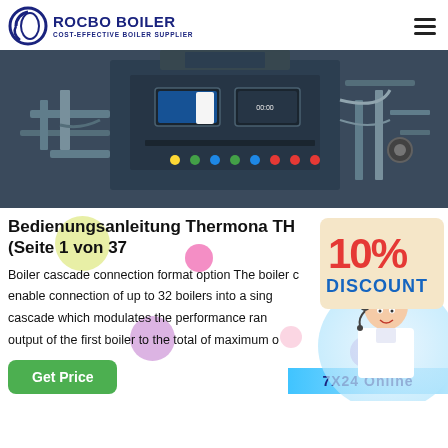ROCBO BOILER — COST-EFFECTIVE BOILER SUPPLIER
[Figure (photo): Industrial boiler control panel with display screens and colored indicator buttons, blue industrial equipment in background]
Bedienungsanleitung Thermona TH (Seite 1 von 37
[Figure (infographic): 10% DISCOUNT promotional badge in red and blue on tan background, with customer service agent photo]
Boiler cascade connection format option The boiler can enable connection of up to 32 boilers into a single cascade which modulates the performance range output of the first boiler to the total of maximum o
[Figure (illustration): Get Price green button and 7X24 Online banner at bottom]